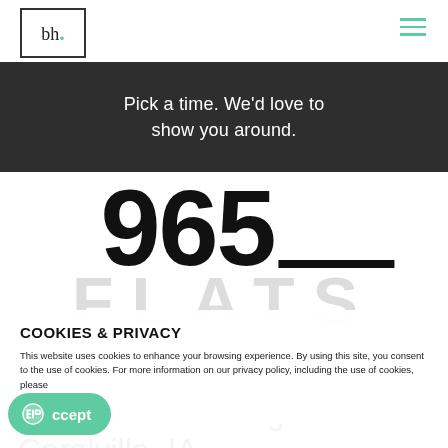[Figure (logo): bh. logo in a square border, with a teal dot after the period]
[Figure (other): Hamburger menu icon with three teal horizontal lines]
Pick a time. We'd love to show you around.
[Figure (other): 965__ large bold number with underline, with FLATS in large light gray letters behind]
COOKIES & PRIVACY
This website uses cookies to enhance your browsing experience. By using this site, you consent to the use of cookies. For more information on our privacy policy, including the use of cookies, please click here.
Comfortable Living in Coralville, IA
Accept